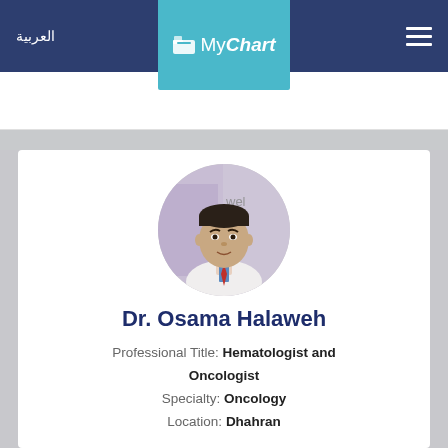العربية   MyChart
[Figure (photo): Circular profile photo of Dr. Osama Halaweh, a middle-aged man in a white coat and red tie, with a medical institute banner visible in the background.]
Dr. Osama Halaweh
Professional Title: Hematologist and Oncologist
Specialty: Oncology
Location: Dhahran